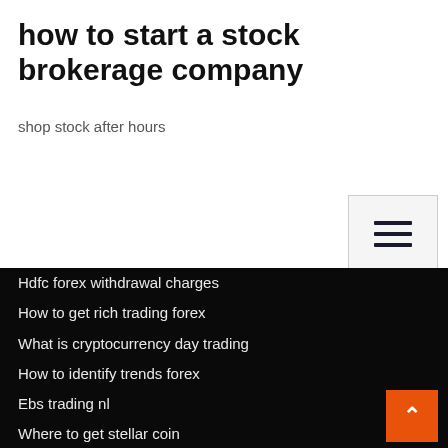how to start a stock brokerage company
shop stock after hours
Hdfc forex withdrawal charges
How to get rich trading forex
What is cryptocurrency day trading
How to identify trends forex
Ebs trading nl
Where to get stellar coin
Dexcom stock price today
How does forex work
Who made the gold dollars